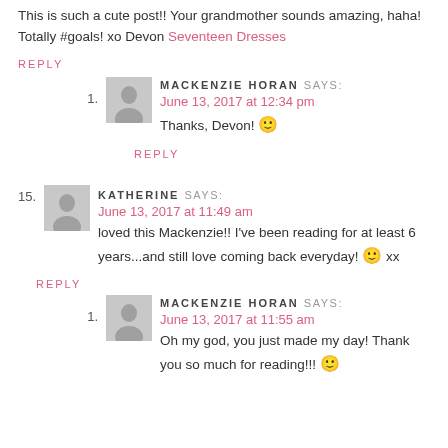This is such a cute post!! Your grandmother sounds amazing, haha! Totally #goals! xo Devon Seventeen Dresses
REPLY
1. MACKENZIE HORAN SAYS: June 13, 2017 at 12:34 pm — Thanks, Devon! 🙂
REPLY
15. KATHERINE SAYS: June 13, 2017 at 11:49 am — loved this Mackenzie!! I've been reading for at least 6 years...and still love coming back everyday! 🙂 xx
REPLY
1. MACKENZIE HORAN SAYS: June 13, 2017 at 11:55 am — Oh my god, you just made my day! Thank you so much for reading!!! 🙂